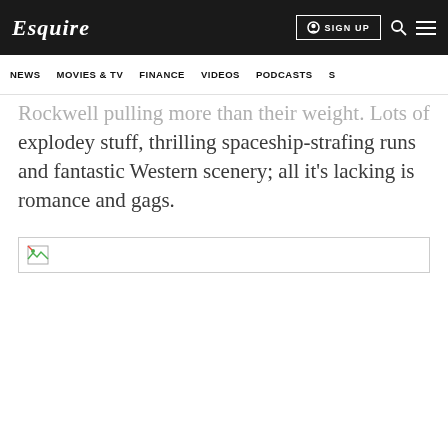Esquire | NEWS | MOVIES & TV | FINANCE | VIDEOS | PODCASTS
Rockwell pulling more than their weight. Lots of explodey stuff, thrilling spaceship-strafing runs and fantastic Western scenery; all it's lacking is romance and gags.
[Figure (photo): Broken image placeholder — a failed image load, shown as a small broken image icon inside a rectangular bordered box.]